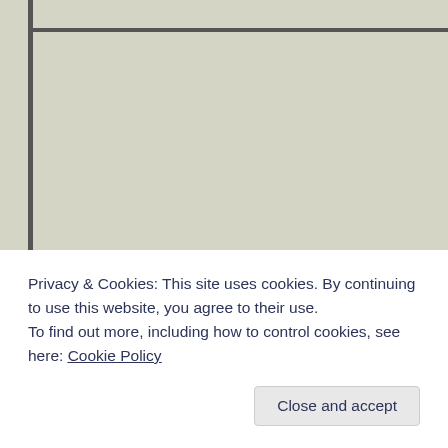[Figure (screenshot): Screenshot of a webpage with a khaki/sage green-gray background. A dark vertical border runs along the left side and a dark horizontal border runs along the top.]
Privacy & Cookies: This site uses cookies. By continuing to use this website, you agree to their use.
To find out more, including how to control cookies, see here: Cookie Policy
Close and accept